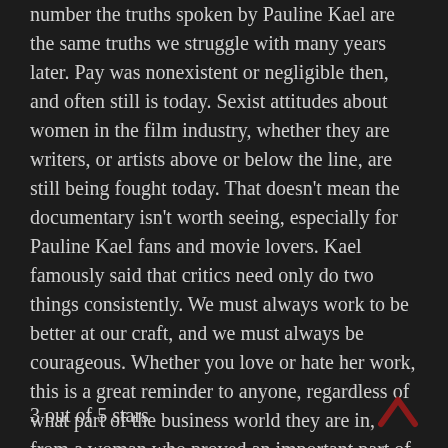number the truths spoken by Pauline Kael are the same truths we struggle with many years later. Pay was nonexistent or negligible then, and often still is today. Sexist attitudes about women in the film industry, whether they are writers, or artists above or below the line, are still being fought today. That doesn't mean the documentary isn't worth seeing, especially for Pauline Kael fans and movie lovers. Kael famously said that critics need only do two things consistently. We must always work to be better at our craft, and we must always be courageous. Whether you love or hate her work, this is a great reminder to anyone, regardless of what part of the business world they are in, from a woman who proved an important part of film history.
3 out of 5 stars